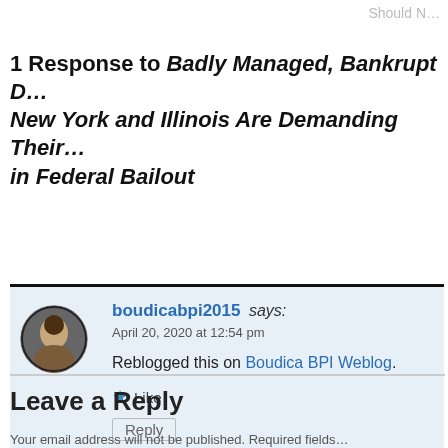Should N…
1 Response to Badly Managed, Bankrupt D… New York and Illinois Are Demanding Their… in Federal Bailout
boudicabpi2015 says: April 20, 2020 at 12:54 pm

Reblogged this on Boudica BPI Weblog.

★ Like
Reply
Leave a Reply
Your email address will not be published. Required fields…